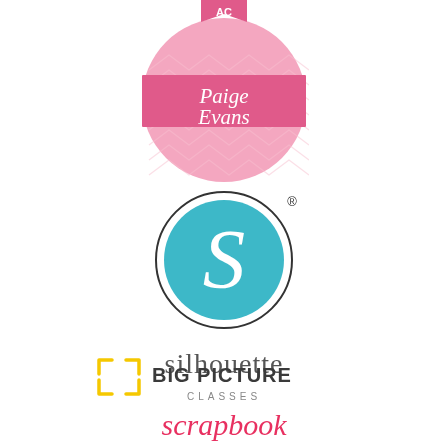[Figure (logo): Paige Evans circular logo with pink background, chevron pattern, banner, and script text 'Paige Evans']
[Figure (logo): Silhouette logo: teal circle with white S inside, thin dark ring, registered trademark symbol, and 'silhouette' text below]
[Figure (logo): Big Picture Classes logo with yellow bracket/corner icon and 'BIG PICTURE CLASSES' text]
[Figure (logo): scrapbook (partial, red italic text)]